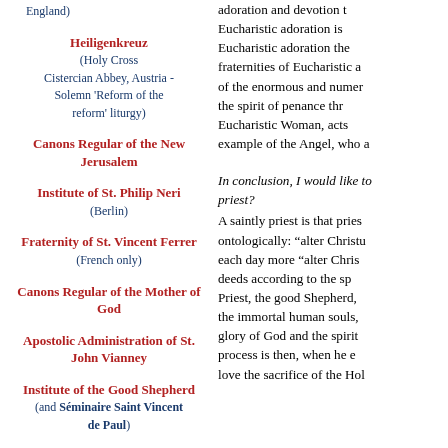England)
Heiligenkreuz (Holy Cross Cistercian Abbey, Austria - Solemn 'Reform of the reform' liturgy)
Canons Regular of the New Jerusalem
Institute of St. Philip Neri (Berlin)
Fraternity of St. Vincent Ferrer (French only)
Canons Regular of the Mother of God
Apostolic Administration of St. John Vianney
Institute of the Good Shepherd (and Séminaire Saint Vincent de Paul)
Carmelite Monks of Wyoming (Carmelite rite)
adoration and devotion t Eucharistic adoration is Eucharistic adoration the fraternities of Eucharistic a of the enormous and numer the spirit of penance thr Eucharistic Woman, acts example of the Angel, who a
In conclusion, I would like to priest?
A saintly priest is that pries ontologically: "alter Christu each day more "alter Chris deeds according to the sp Priest, the good Shepherd, the immortal human souls, glory of God and the spirit process is then, when he e love the sacrifice of the Ho